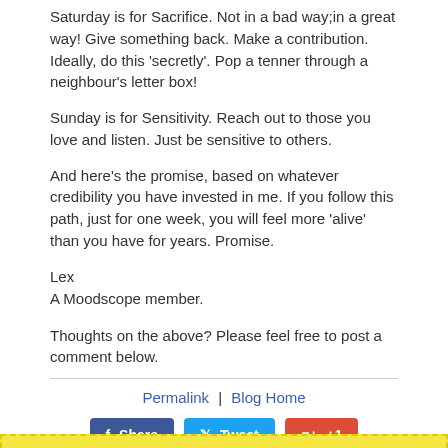Saturday is for Sacrifice. Not in a bad way;in a great way! Give something back. Make a contribution. Ideally, do this 'secretly'. Pop a tenner through a neighbour's letter box!
Sunday is for Sensitivity. Reach out to those you love and listen. Just be sensitive to others.
And here's the promise, based on whatever credibility you have invested in me. If you follow this path, just for one week, you will feel more 'alive' than you have for years. Promise.
Lex
A Moodscope member.
Thoughts on the above? Please feel free to post a comment below.
Permalink  |  Blog Home
Share  Tweet  +1  Email
Comments